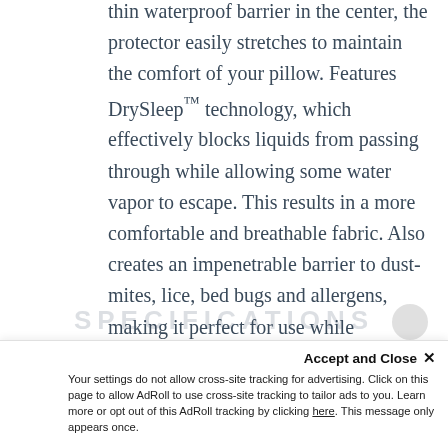thin waterproof barrier in the center, the protector easily stretches to maintain the comfort of your pillow. Features DrySleep™ technology, which effectively blocks liquids from passing through while allowing some water vapor to escape. This results in a more comfortable and breathable fabric. Also creates an impenetrable barrier to dust-mites, lice, bed bugs and allergens, making it perfect for use while traveling. Machine wash & dry.
SPECIFICATIONS
Your settings do not allow cross-site tracking for advertising. Click on this page to allow AdRoll to use cross-site tracking to tailor ads to you. Learn more or opt out of this AdRoll tracking by clicking here. This message only appears once.